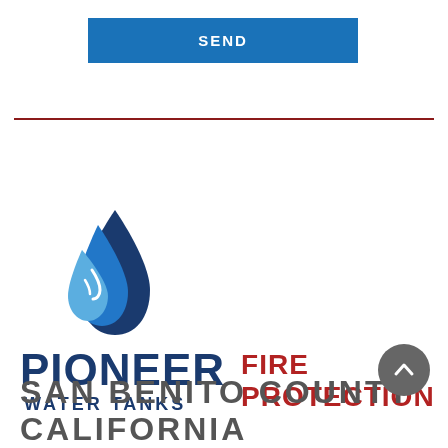SEND
[Figure (logo): Pioneer Water Tanks logo with blue water drop icon, text PIONEER WATER TANKS in dark navy and FIRE PROTECTION in dark red]
SAN BENITO COUNTY CALIFORNIA